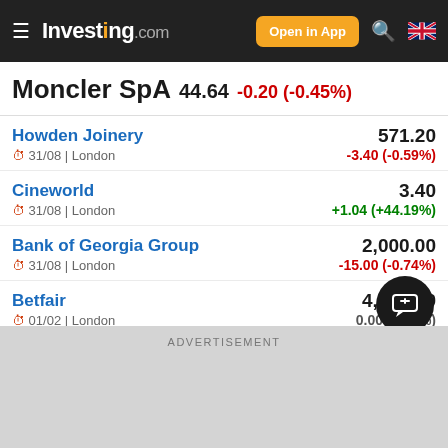Investing.com — Open in App
Moncler SpA 44.64 -0.20 (-0.45%)
Howden Joinery | 571.20 | -3.40 (-0.59%) | 31/08 | London
Cineworld | 3.40 | +1.04 (+44.19%) | 31/08 | London
Bank of Georgia Group | 2,000.00 | -15.00 (-0.74%) | 31/08 | London
Betfair | 4,420.00 | 0.00 (0.00%) | 01/02 | London
ADVERTISEMENT